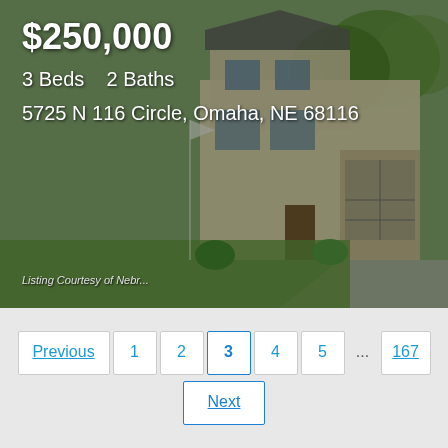[Figure (photo): Exterior photo of a two-story house at 5725 N 116 Circle, Omaha, NE 68116 with green landscaping]
$250,000
3 Beds    2 Baths
5725 N 116 Circle, Omaha, NE 68116
Listing Courtesy of Nebr...
Previous  1  2  3  Next  4  5  ...  167
[Figure (logo): HOME Real Estate logo with yellow house icon. Text: HOME REAL ESTATE Mortgage • Title • Insurance]
Eric Lemke with HOME Real Estate
Eric Lemke
7211 S 27th St
Lincoln, NE 68512
402-432-0742